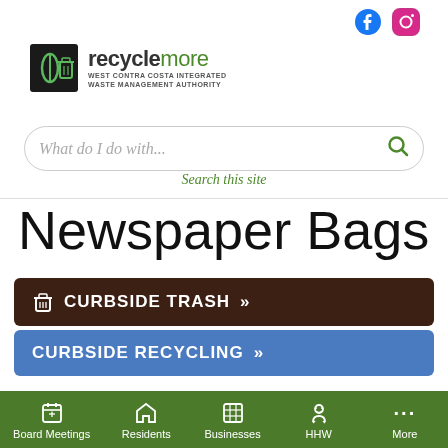[Figure (logo): Recyclemore West Contra Costa Integrated Waste Management Authority logo with social media icons (Facebook, Instagram)]
What do I do with...
Search this site
Newspaper Bags
CURBSIDE TRASH >>
CURBSIDE RECYCLING >>
Board Meetings | Residents | Businesses | HHW | More